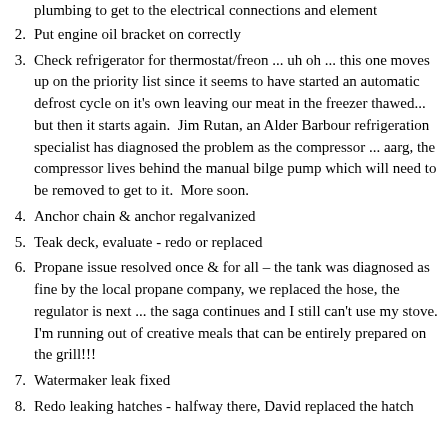(continuation) ...unfortunately to find out we have to disconnect the plumbing to get to the electrical connections and element
2. Put engine oil bracket on correctly
3. Check refrigerator for thermostat/freon ... uh oh ... this one moves up on the priority list since it seems to have started an automatic defrost cycle on it's own leaving our meat in the freezer thawed... but then it starts again. Jim Rutan, an Alder Barbour refrigeration specialist has diagnosed the problem as the compressor ... aarg, the compressor lives behind the manual bilge pump which will need to be removed to get to it. More soon.
4. Anchor chain & anchor regalvanized
5. Teak deck, evaluate - redo or replaced
6. Propane issue resolved once & for all – the tank was diagnosed as fine by the local propane company, we replaced the hose, the regulator is next ... the saga continues and I still can't use my stove. I'm running out of creative meals that can be entirely prepared on the grill!!!
7. Watermaker leak fixed
8. Redo leaking hatches - halfway there, David replaced the hatch